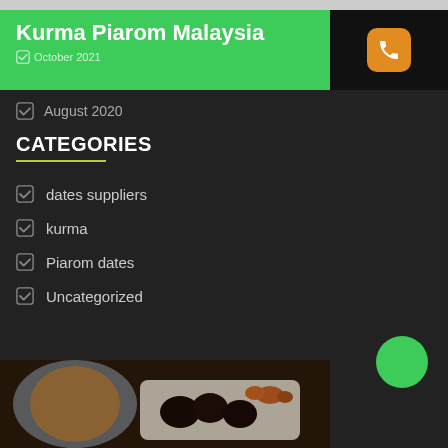Kurma Piarom Malaysia
October 2021
August 2020
CATEGORIES
dates suppliers
kurma
Piarom dates
Uncategorized
[Figure (photo): Photo of dark Piarom dates in a white rectangular dish, with other dried fruits, and a decorative lantern in the background]